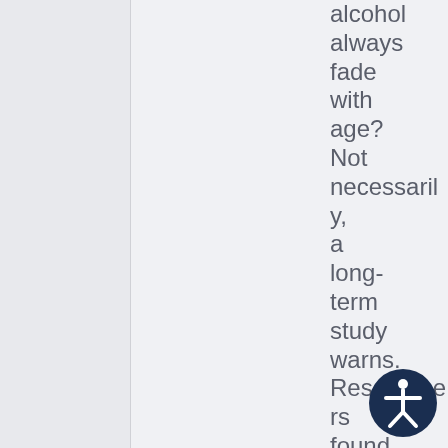alcohol always fade with age? Not necessarily, a long-term study warns. Researchers found that more than 60% of teens who